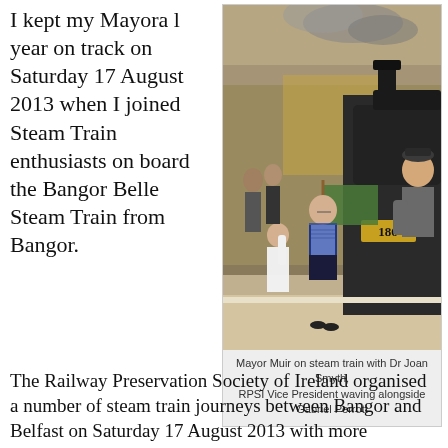I kept my Mayoral year on track on Saturday 17 August 2013 when I joined Steam Train enthusiasts on board the Bangor Belle Steam Train from Bangor.
[Figure (photo): Mayor Muir on a steam train platform with Dr Joan Smyth and Gabriel Perrott. A woman and child wave a green flag next to steam locomotive number 186, while a man in a suit and cap leans from the engine cab.]
Mayor Muir on steam train with Dr Joan Smyth, RPSI Vice President waving alongside Gabriel Perrott
The Railway Preservation Society of Ireland organised a number of steam train journeys between Bangor and Belfast on Saturday 17 August 2013 with more opportunities to enjoy